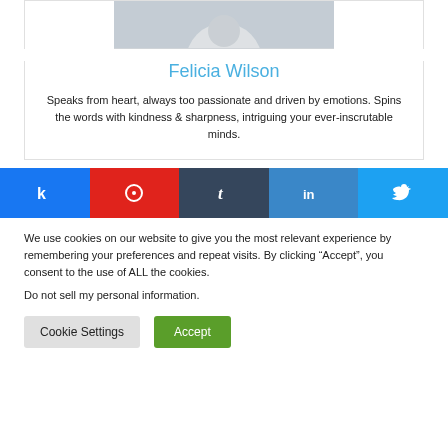[Figure (photo): Partial photo of author Felicia Wilson at the top of the card]
Felicia Wilson
Speaks from heart, always too passionate and driven by emotions. Spins the words with kindness & sharpness, intriguing your ever-inscrutable minds.
[Figure (infographic): Row of social share buttons: Facebook (k), Pinterest (pin), Tumblr (t), LinkedIn (in), Twitter (bird icon)]
We use cookies on our website to give you the most relevant experience by remembering your preferences and repeat visits. By clicking “Accept”, you consent to the use of ALL the cookies.
Do not sell my personal information.
Cookie Settings    Accept